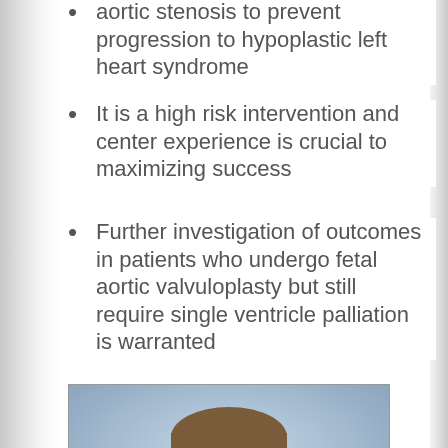aortic stenosis to prevent progression to hypoplastic left heart syndrome
It is a high risk intervention and center experience is crucial to maximizing success
Further investigation of outcomes in patients who undergo fetal aortic valvuloplasty but still require single ventricle palliation is warranted
[Figure (photo): Headshot photo of a young man with short hair, smiling, against a blue-grey background]